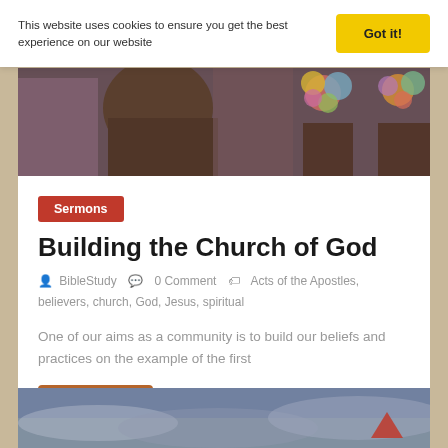This website uses cookies to ensure you get the best experience on our website
Got it!
[Figure (photo): Church interior photo showing people seated in pews with colorful floral decorations]
Sermons
Building the Church of God
BibleStudy   0 Comment   Acts of the Apostles, believers, church, God, Jesus, spiritual
One of our aims as a community is to build our beliefs and practices on the example of the first
Read more
[Figure (photo): Sky with clouds photograph at bottom of page]